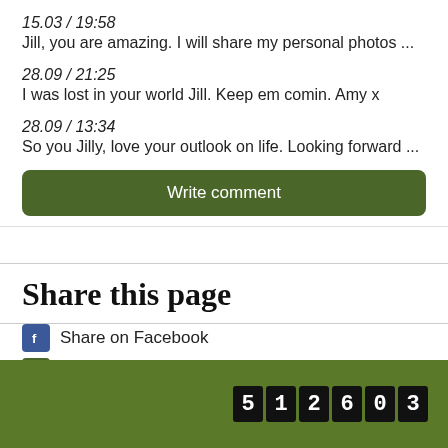15.03 / 19:58
Jill, you are amazing. I will share my personal photos ...
28.09 / 21:25
I was lost in your world Jill. Keep em comin. Amy x
28.09 / 13:34
So you Jilly, love your outlook on life. Looking forward ...
Write comment
Share this page
Share on Facebook
Share on Twitter
512603